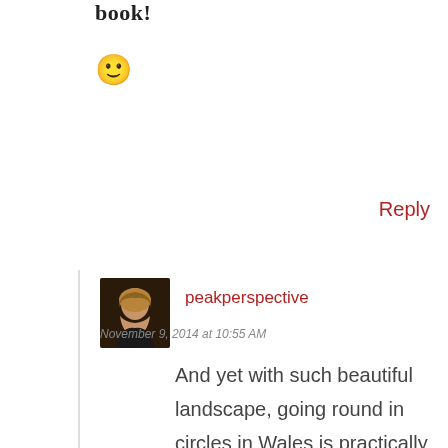book!
🙂
Reply
peakperspective
November 9, 2014 at 10:55 AM
And yet with such beautiful landscape, going round in circles in Wales is practically a repeated feast for the eyes, yes?